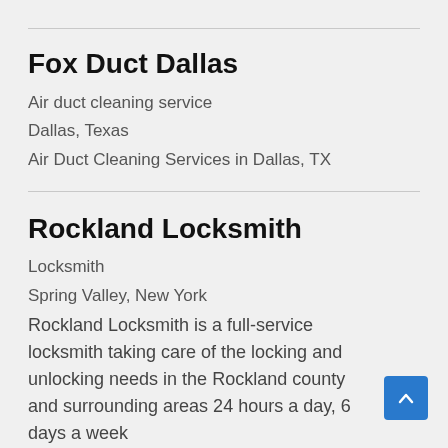Fox Duct Dallas
Air duct cleaning service
Dallas, Texas
Air Duct Cleaning Services in Dallas, TX
Rockland Locksmith
Locksmith
Spring Valley, New York
Rockland Locksmith is a full-service locksmith taking care of the locking and unlocking needs in the Rockland county and surrounding areas 24 hours a day, 6 days a week